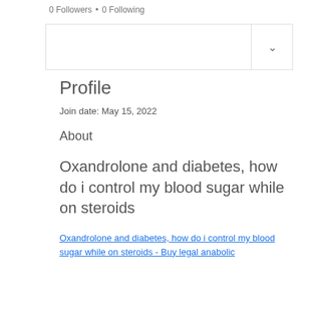0 Followers • 0 Following
Profile
Join date: May 15, 2022
About
Oxandrolone and diabetes, how do i control my blood sugar while on steroids
Oxandrolone and diabetes, how do i control my blood sugar while on steroids - Buy legal anabolic steroids